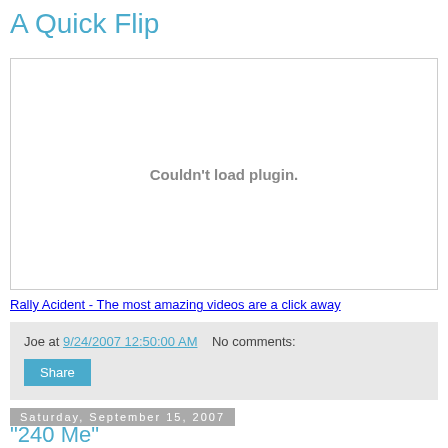A Quick Flip
[Figure (other): Embedded video plugin placeholder showing 'Couldn't load plugin.']
Rally Acident - The most amazing videos are a click away
Joe at 9/24/2007 12:50:00 AM   No comments:
Share
Saturday, September 15, 2007
"240 Me"